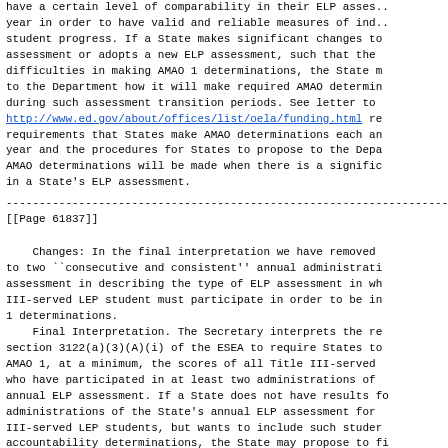have a certain level of comparability in their ELP assess... year in order to have valid and reliable measures of ind... student progress. If a State makes significant changes to... assessment or adopts a new ELP assessment, such that the... difficulties in making AMAO 1 determinations, the State m... to the Department how it will make required AMAO determin... during such assessment transition periods. See letter to http://www.ed.gov/about/offices/list/oela/funding.html r... requirements that States make AMAO determinations each a... year and the procedures for States to propose to the Dep... AMAO determinations will be made when there is a signific... in a State's ELP assessment.
------------------------------------------------------------------------
[[Page 61837]]
Changes: In the final interpretation we have removed... to two ``consecutive and consistent'' annual administrati... assessment in describing the type of ELP assessment in wh... III-served LEP student must participate in order to be i... 1 determinations.
    Final Interpretation. The Secretary interprets the r... section 3122(a)(3)(A)(i) of the ESEA to require States t... AMAO 1, at a minimum, the scores of all Title III-served... who have participated in at least two administrations of... annual ELP assessment. If a State does not have results f... administrations of the State's annual ELP assessment for... III-served LEP students, but wants to include such stude... accountability determinations, the State may propose to f... an alternative method of measuring progress. The alternat...